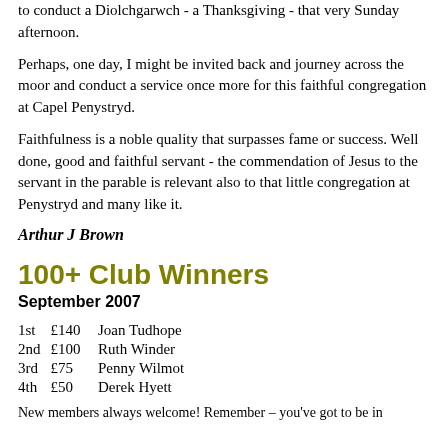to conduct a Diolchgarwch - a Thanksgiving - that very Sunday afternoon.
Perhaps, one day, I might be invited back and journey across the moor and conduct a service once more for this faithful congregation at Capel Penystryd.
Faithfulness is a noble quality that surpasses fame or success. Well done, good and faithful servant - the commendation of Jesus to the servant in the parable is relevant also to that little congregation at Penystryd and many like it.
Arthur J Brown
100+ Club Winners
September 2007
| Place | Amount | Name |
| --- | --- | --- |
| 1st | £140 | Joan Tudhope |
| 2nd | £100 | Ruth Winder |
| 3rd | £75 | Penny Wilmot |
| 4th | £50 | Derek Hyett |
New members always welcome! Remember – you've got to be in